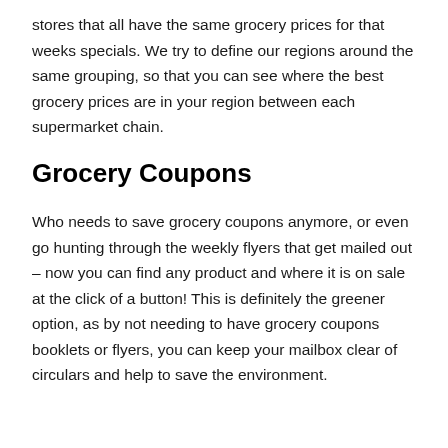stores that all have the same grocery prices for that weeks specials. We try to define our regions around the same grouping, so that you can see where the best grocery prices are in your region between each supermarket chain.
Grocery Coupons
Who needs to save grocery coupons anymore, or even go hunting through the weekly flyers that get mailed out – now you can find any product and where it is on sale at the click of a button! This is definitely the greener option, as by not needing to have grocery coupons booklets or flyers, you can keep your mailbox clear of circulars and help to save the environment.